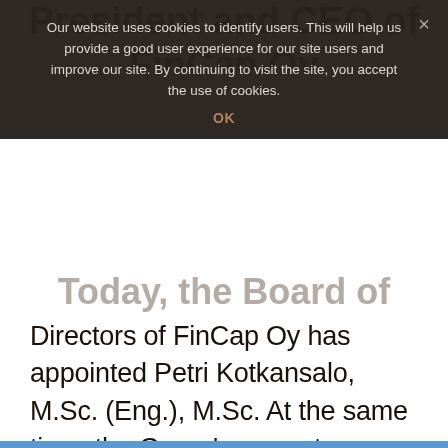President and CEO of FinCap Oy
Our website uses cookies to identify users. This will help us provide a good user experience for our site users and improve our site. By continuing to visit the site, you accept the use of cookies.
OK
Today, the Board of
Directors of FinCap Oy has appointed Petri Kotkansalo, M.Sc. (Eng.), M.Sc. At the same time, the Group's current President and CEO Janne Kotamäki will leave FinCap's day–to–day operational management. Kotamäki will continue on the...